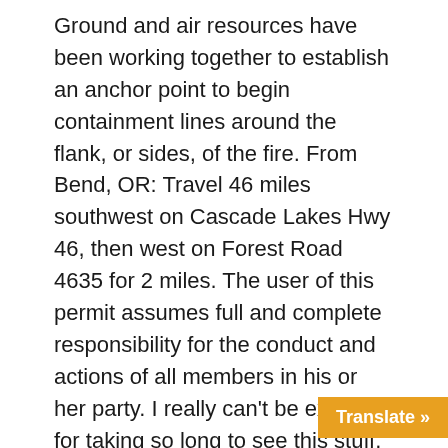Ground and air resources have been working together to establish an anchor point to begin containment lines around the flank, or sides, of the fire. From Bend, OR: Travel 46 miles southwest on Cascade Lakes Hwy 46, then west on Forest Road 4635 for 2 miles. The user of this permit assumes full and complete responsibility for the conduct and actions of all members in his or her party. I really can't be excused for taking so long to see this stuff. So lovely was the loneliness of a wild lake. All of the campgrounds are equipped with food storage lockers, pit toilets, and grey water washing stations. Outstanding lifestyle property with a 2 bedroom cottage, workshop, sheds, garden and orchard, an owner occupied croft with three shepherds huts with patios and hot tubs, an agricultural. Chicken with Three Spices. Take a boat to one of five islands in Lake Worth where you can enjoy activities such as canoeing, kayaking, or swimming and family. Input fields contain invalid val